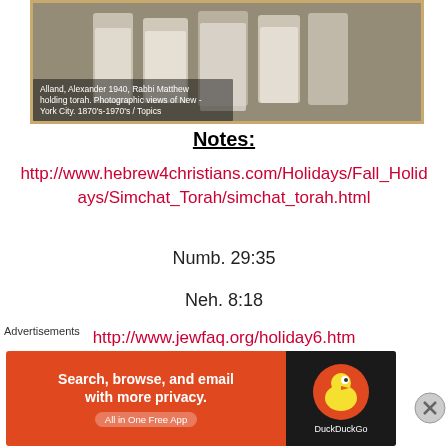[Figure (photo): Black and white photograph of people, with caption: Alland, Alexander 1940, Rabbi Matthew holding torah. Photographic views of New York City. 1870's-1970's / Topics]
Notes:
http://www.hebrew4christians.com/Holidays/Fall_Holidays/Simchat_Torah/simchat_torah.html
Numb. 29:35
Neh. 8:18
http://www.jewfaq.org/holiday6.htm
II Chron. 7:9
Advertisements
[Figure (screenshot): DuckDuckGo advertisement banner: Search, browse, and email with more privacy. All in One Free App.]